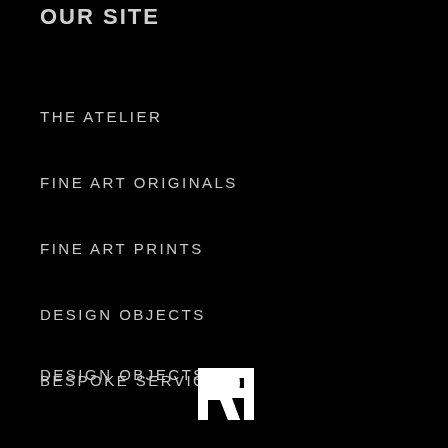OUR SITE
THE ATELIER
FINE ART ORIGINALS
FINE ART PRINTS
DESIGN OBJECTS
BESPOKE SERVICES
THE ARTIST
[Figure (logo): RF monogram logo in white on black background]